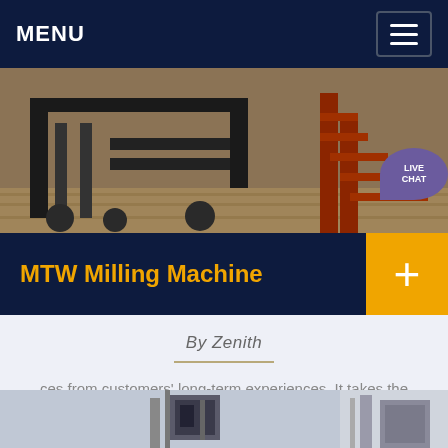MENU
[Figure (photo): Industrial milling machine equipment with metal staircase in a factory setting]
MTW Milling Machine
By Zenith
ces from customers' long-term experiences. It takes the most advanced patent technology from European and the supply the customers with outstanding performance at low costs.
[Figure (photo): Industrial equipment at bottom of page, partially visible]